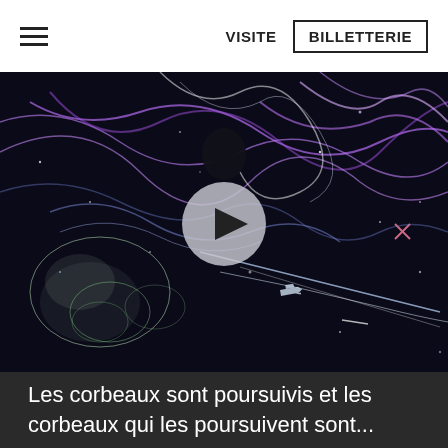VISITE  BILLETTERIE
[Figure (screenshot): Video thumbnail showing abstract light trails and swirling patterns in purple, blue, and white on a dark/black background, with airplane silhouettes and star-like particles. A circular play button overlay is centered on the image.]
Les corbeaux sont poursuivis et les corbeaux qui les poursuivent sont...